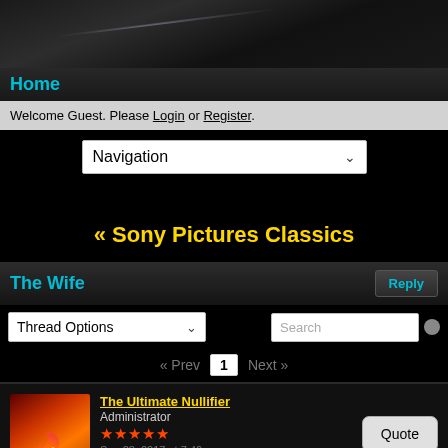[Figure (screenshot): Dark gradient header banner with diagonal light streak]
Home
Welcome Guest. Please Login or Register.
Navigation (dropdown)
« Sony Pictures Classics
The Wife
Thread Options (dropdown) | Search | Reply
« Prev  1  Next »
The Ultimate Nullifier
Administrator
★★★★★
Sep 28, 2017 at 7:46pm
Quote